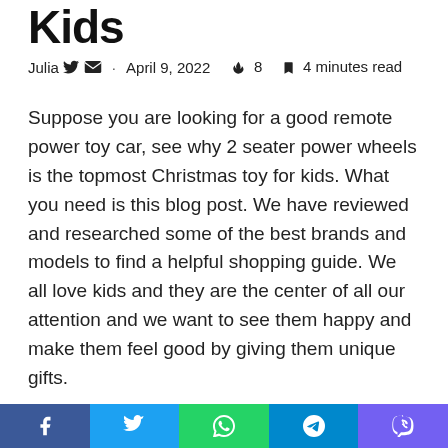Kids
Julia · April 9, 2022 🔥 8 🔖 4 minutes read
Suppose you are looking for a good remote power toy car, see why 2 seater power wheels is the topmost Christmas toy for kids. What you need is this blog post. We have reviewed and researched some of the best brands and models to find a helpful shopping guide. We all love kids and they are the center of all our attention and we want to see them happy and make them feel good by giving them unique gifts.
The topmost present for this Christmas is the 2-seater power wheels. Your child will be able to turn
Facebook Twitter WhatsApp Telegram Viber